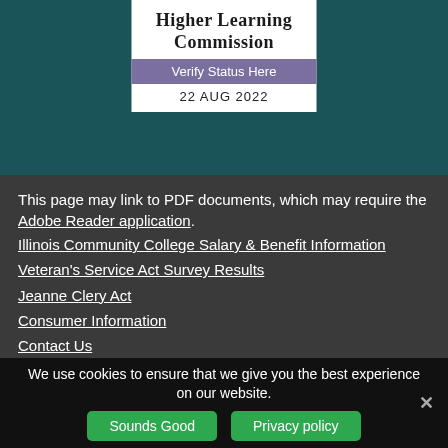[Figure (logo): Higher Learning Commission badge with 'Verify Status Here' purple button and date 22 AUG 2022]
This page may link to PDF documents, which may require the Adobe Reader application.
Illinois Community College Salary & Benefit Information
Veteran's Service Act Survey Results
Jeanne Clery Act
Consumer Information
Contact Us
A-Z Sitemap
We use cookies to ensure that we give you the best experience on our website.